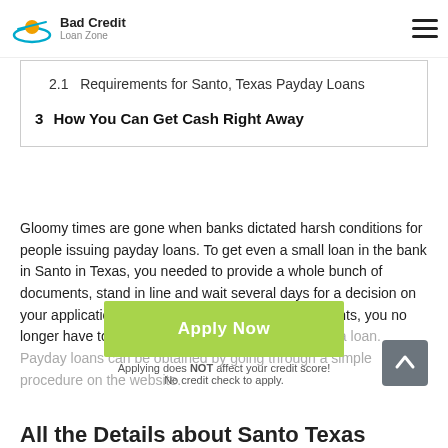Bad Credit Loan Zone
2.1  Requirements for Santo, Texas Payday Loans
3  How You Can Get Cash Right Away
Gloomy times are gone when banks dictated harsh conditions for people issuing payday loans. To get even a small loan in the bank in Santo in Texas, you needed to provide a whole bunch of documents, stand in line and wait several days for a decision on your application. Now when it comes to small amounts, you no longer have to go anywhere in Santo, Texas, to get a loan. Payday loans can be obtained by going through a simple procedure on the website.
[Figure (other): Apply Now button with green background, text 'Apply Now', subtext 'Applying does NOT affect your credit score!' and 'No credit check to apply.']
All the Details about Santo Texas